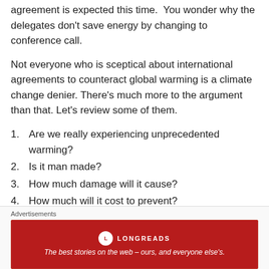agreement is expected this time.  You wonder why the delegates don't save energy by changing to conference call.
Not everyone who is sceptical about international agreements to counteract global warming is a climate change denier. There's much more to the argument than that. Let's review some of them.
1. Are we really experiencing unprecedented warming?
2. Is it man made?
3. How much damage will it cause?
4. How much will it cost to prevent?
5. Is it worth paying the costs of mitigation now to prevent
[Figure (infographic): Longreads advertisement banner: red background with Longreads logo and tagline 'The best stories on the web – ours, and everyone else's.']